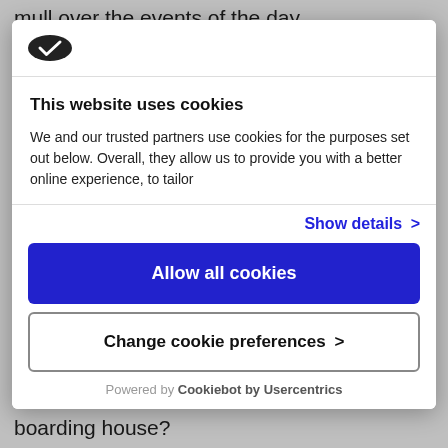mull over the events of the day.
[Figure (logo): Checkmark/shield logo icon in dark color]
This website uses cookies
We and our trusted partners use cookies for the purposes set out below. Overall, they allow us to provide you with a better online experience, to tailor
Show details >
Allow all cookies
Change cookie preferences >
Powered by Cookiebot by Usercentrics
boarding house?